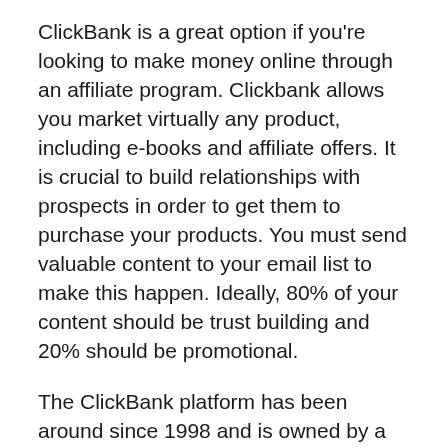ClickBank is a great option if you're looking to make money online through an affiliate program. Clickbank allows you market virtually any product, including e-books and affiliate offers. It is crucial to build relationships with prospects in order to get them to purchase your products. You must send valuable content to your email list to make this happen. Ideally, 80% of your content should be trust building and 20% should be promotional.
The ClickBank platform has been around since 1998 and is owned by a private company. It currently has more than 6 million clients in 200 countries. ClickBank has thousands upon thousands of positive ClickBank reviews. There are some reputed and